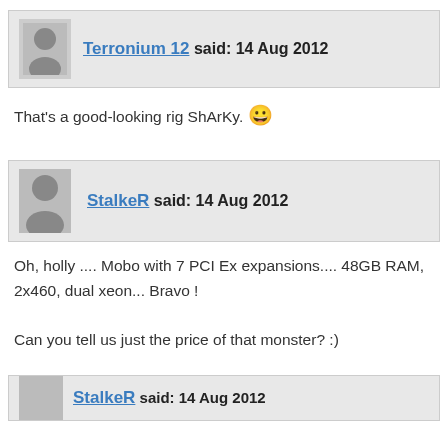Terronium 12 said: 14 Aug 2012
That's a good-looking rig ShArKy. 😀
StalkeR said: 14 Aug 2012
Oh, holly .... Mobo with 7 PCI Ex expansions.... 48GB RAM, 2x460, dual xeon... Bravo !
Can you tell us just the price of that monster? :)